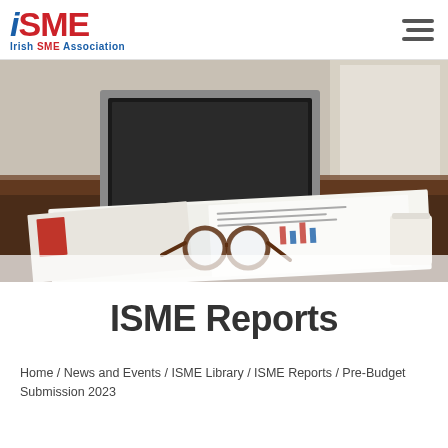[Figure (logo): ISME Irish SME Association logo with blue stylized 'i', red 'SME' text, and blue 'Irish SME Association' tagline]
[Figure (photo): Office desk scene with open laptop, open report/magazine showing bar charts and text, a pair of reading glasses resting on documents, and a white coffee cup in background]
ISME Reports
Home / News and Events / ISME Library / ISME Reports / Pre-Budget Submission 2023